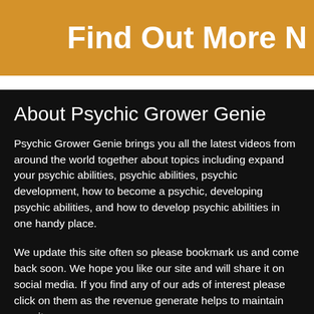Find Out More N
About Psychic Grower Genie
Psychic Grower Genie brings you all the latest videos from around the world together about topics including expand your psychic abilities, psychic abilities, psychic development, how to become a psychic, developing psychic abilities, and how to develop psychic abilities in one handy place.
We update this site often so please bookmark us and come back soon. We hope you like our site and will share it on social media. If you find any of our ads of interest please click on them as the revenue generate helps to maintain our site.
Don't Miss These!